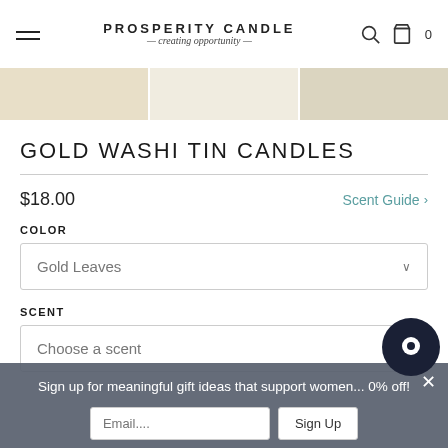PROSPERITY CANDLE — creating opportunity —
[Figure (photo): Three product image thumbnails of Gold Washi Tin Candles]
GOLD WASHI TIN CANDLES
$18.00
Scent Guide
COLOR
Gold Leaves
SCENT
Choose a scent
Sign up for meaningful gift ideas that support women... 0% off!
Email....
Sign Up